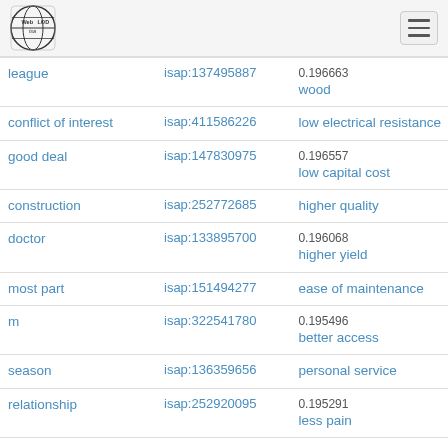Web isa LOD
| Term | ID | Related Term | ID |
| --- | --- | --- | --- |
| league | isap:137495887 | wood / 0.196663 | isap:289087... |
| conflict of interest | isap:411586226 | low electrical resistance | isap:193127... |
| good deal | isap:147830975 | low capital cost / 0.196557 | isap:287988... |
| construction | isap:252772685 | higher quality | isap:321434... |
| doctor | isap:133895700 | higher yield / 0.196068 | isap:337845... |
| most part | isap:151494277 | ease of maintenance | isap:285946... |
| m | isap:322541780 | better access / 0.195496 | isap:425501... |
| season | isap:136359656 | personal service / 0.195... | isap:317424... |
| relationship | isap:252920095 | less pain / 0.195291 | isap:290359... |
| number of reason | isap:132396320 | higher potency | isap:317995... |